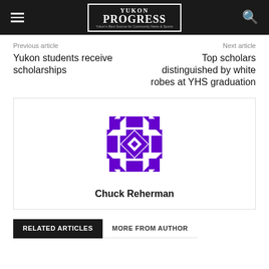Yukon Progress
Previous article
Next article
Yukon students receive scholarships
Top scholars distinguished by white robes at YHS graduation
[Figure (illustration): Purple geometric avatar/gravatar image for author Chuck Reherman]
Chuck Reherman
RELATED ARTICLES
MORE FROM AUTHOR